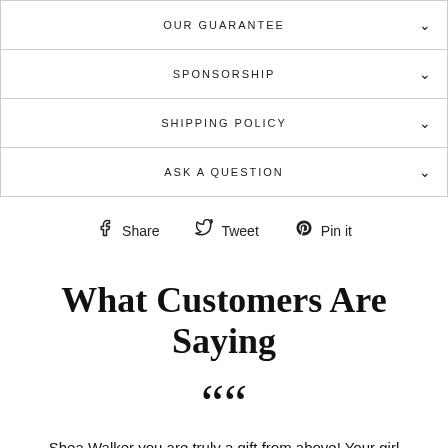OUR GUARANTEE
SPONSORSHIP
SHIPPING POLICY
ASK A QUESTION
Share  Tweet  Pin it
What Customers Are Saying
““ Shea Walker you are truly a gift from above! Your girl collection has helped boost my business and my self as a person. I truly can't thank you enough. I been using your svgs